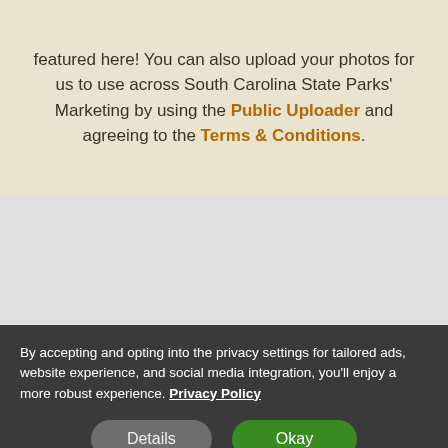featured here! You can also upload your photos for us to use across South Carolina State Parks' Marketing by using the Public Uploader and agreeing to the Terms & Conditions.
[Figure (other): Gray empty area, possibly a placeholder for an image or map embed]
By accepting and opting into the privacy settings for tailored ads, website experience, and social media integration, you'll enjoy a more robust experience. Privacy Policy
Details   Okay